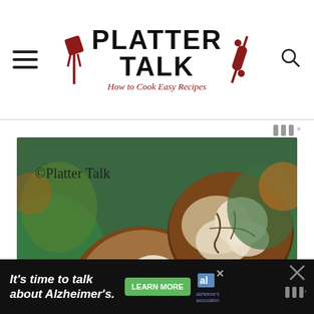PLATTER TALK — How to Cook Easy Recipes
[Figure (photo): Chocolate crinkle cookies with powdered sugar on green tissue paper, with copyright watermark '©Platter Talk']
[Figure (infographic): Advertisement banner: It's time to talk about Alzheimer's. Learn More button and Alzheimer's Association logo.]